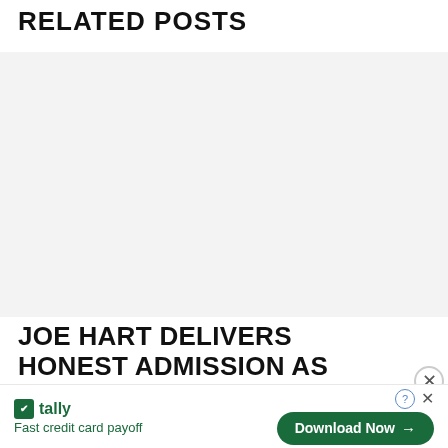RELATED POSTS
[Figure (photo): Large gray placeholder image area for a related post thumbnail]
JOE HART DELIVERS HONEST ADMISSION AS CELTIC PREPARE FOR CHAMPIONS LEAGUE RETURN
[Figure (infographic): Tally advertisement banner with logo, tagline 'Fast credit card payoff', Download Now button, help and close controls]